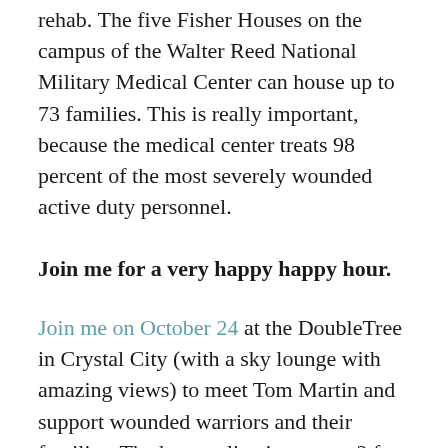rehab. The five Fisher Houses on the campus of the Walter Reed National Military Medical Center can house up to 73 families. This is really important, because the medical center treats 98 percent of the most severely wounded active duty personnel.
Join me for a very happy happy hour.
Join me on October 24 at the DoubleTree in Crystal City (with a sky lounge with amazing views) to meet Tom Martin and support wounded warriors and their families. The bottom line is you get 2 free